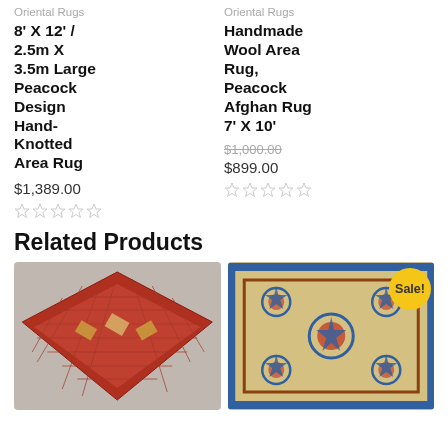Oriental Rugs
8' X 12' / 2.5m X 3.5m Large Peacock Design Hand-Knotted Area Rug
$1,389.00
Oriental Rugs
Handmade Wool Area Rug, Peacock Afghan Rug 7' X 10'
$1,000.00
$899.00
Related Products
[Figure (photo): Red oriental area rug with geometric diamond pattern, displayed folded]
[Figure (photo): Beige/cream Afghan rug with blue and red floral medallion patterns, with Sale! badge]